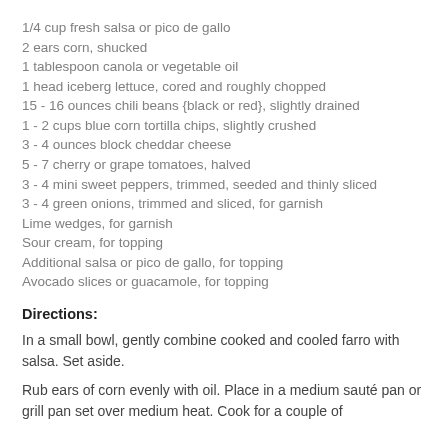1/4 cup fresh salsa or pico de gallo
2 ears corn, shucked
1 tablespoon canola or vegetable oil
1 head iceberg lettuce, cored and roughly chopped
15 - 16 ounces chili beans {black or red}, slightly drained
1 - 2 cups blue corn tortilla chips, slightly crushed
3 - 4 ounces block cheddar cheese
5 - 7 cherry or grape tomatoes, halved
3 - 4 mini sweet peppers, trimmed, seeded and thinly sliced
3 - 4 green onions, trimmed and sliced, for garnish
Lime wedges, for garnish
Sour cream, for topping
Additional salsa or pico de gallo, for topping
Avocado slices or guacamole, for topping
Directions:
In a small bowl, gently combine cooked and cooled farro with salsa. Set aside.
Rub ears of corn evenly with oil. Place in a medium sauté pan or grill pan set over medium heat. Cook for a couple of